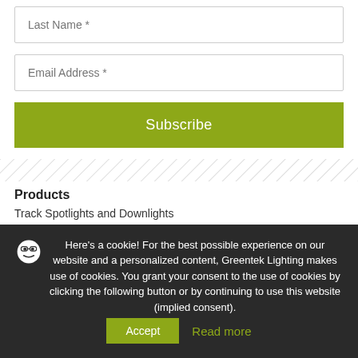[Figure (other): Last Name input field placeholder]
[Figure (other): Email Address input field placeholder]
[Figure (other): Subscribe button in olive/yellow-green color]
[Figure (other): Hatched diagonal stripe divider]
Products
Track Spotlights and Downlights
Signature
Recessed Directional Spotlights
Here's a cookie! For the best possible experience on our website and a personalized content, Greentek Lighting makes use of cookies. You grant your consent to the use of cookies by clicking the following button or by continuing to use this website (implied consent).
Accept
Read more